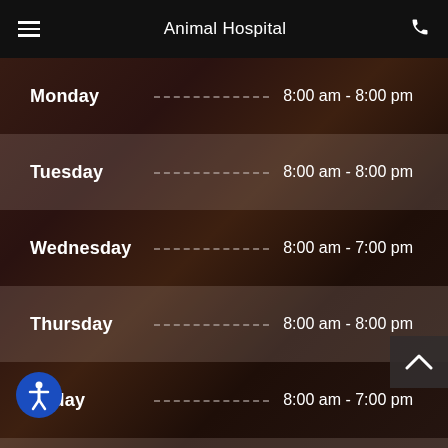Animal Hospital
Monday  8:00 am - 8:00 pm
Tuesday  8:00 am - 8:00 pm
Wednesday  8:00 am - 7:00 pm
Thursday  8:00 am - 8:00 pm
Friday  8:00 am - 7:00 pm
Saturday  8:00 am - 2:00 pm
Sunday  Closed